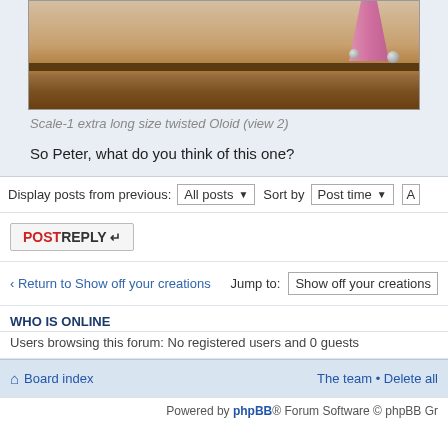[Figure (photo): Photo of a pink twisted Oloid sculpture on a wooden surface, scale-1 extra long size twisted Oloid (view 2)]
Scale-1 extra long size twisted Oloid (view 2)
So Peter, what do you think of this one?
Display posts from previous: All posts ▾  Sort by Post time ▾  A
POSTREPLY ↵
‹ Return to Show off your creations   Jump to: Show off your creations
WHO IS ONLINE
Users browsing this forum: No registered users and 0 guests
Board index   The team • Delete all
Powered by phpBB® Forum Software © phpBB Gr